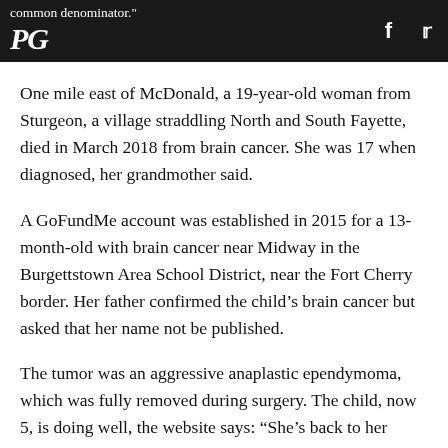common denominator." [PG logo] [Facebook icon] [Twitter icon]
One mile east of McDonald, a 19-year-old woman from Sturgeon, a village straddling North and South Fayette, died in March 2018 from brain cancer. She was 17 when diagnosed, her grandmother said.
A GoFundMe account was established in 2015 for a 13-month-old with brain cancer near Midway in the Burgettstown Area School District, near the Fort Cherry border. Her father confirmed the child’s brain cancer but asked that her name not be published.
The tumor was an aggressive anaplastic ependymoma, which was fully removed during surgery. The child, now 5, is doing well, the website says: “She’s back to her normal habits like melting hearts with that nose-squinting smile” and pulling her sister’s hair.